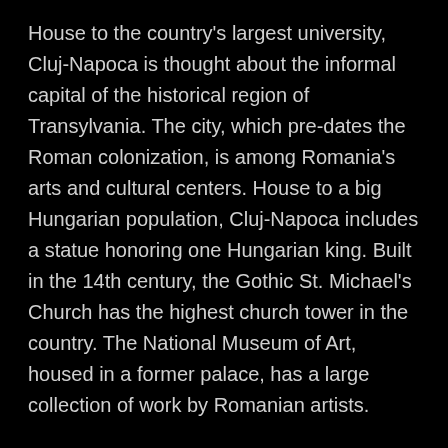House to the country's largest university, Cluj-Napoca is thought about the informal capital of the historical region of Transylvania. The city, which pre-dates the Roman colonization, is among Romania's arts and cultural centers. House to a big Hungarian population, Cluj-Napoca includes a statue honoring one Hungarian king. Built in the 14th century, the Gothic St. Michael's Church has the highest church tower in the country. The National Museum of Art, housed in a former palace, has a large collection of work by Romanian artists.
Most of the Danube Delta, Europe's 2nd largest river delta, depends on Romania. Originally part of the Black Sea, the Danube Delta is a good place to observe nature. It is home to numerous distinct species of plants and animals in Europe, in addition to consists of 23 different ecosystems, consisting of some of the world's biggest wetlands. Previous visitors rave about the incredible sunsets, and highly suggest taking...